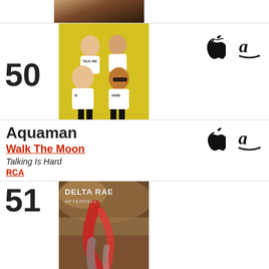[Figure (photo): Partial album art visible at top, skin/jacket tones]
[Figure (photo): Walk The Moon band photo on yellow background, album Talking Is Hard, four members in white t-shirts]
50
Aquaman
Walk The Moon
Talking Is Hard
RCA
[Figure (logo): Apple Music logo]
[Figure (logo): Amazon logo]
51
[Figure (photo): Delta Rae Afterall album art, dramatic red and grey fantasy imagery]